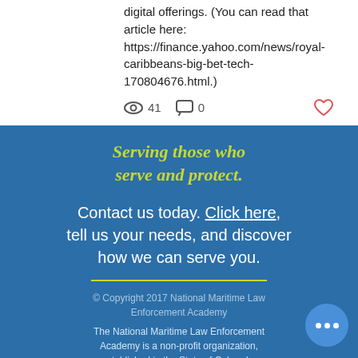digital offerings. (You can read that article here: https://finance.yahoo.com/news/royal-caribbeans-big-bet-tech-170804676.html.)
41 views, 0 comments, heart/like icon
Serving those who serve and protect.
Contact us today. Click here, tell us your needs, and discover how we can serve you.
© Copyright 2017 National Maritime Law Enforcement Academy
The National Maritime Law Enforcement Academy is a non-profit organization, established in the State of Colorado. The International Maritime Law Enforcement Academy, LLC is a business established in the State of Colorado.